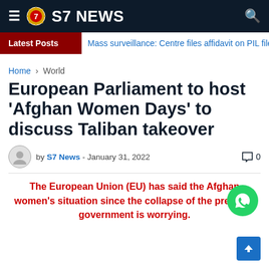S7 NEWS
Latest Posts  Mass surveillance: Centre files affidavit on PIL filed again
Home › World
European Parliament to host 'Afghan Women Days' to discuss Taliban takeover
by S7 News - January 31, 2022  0
The European Union (EU) has said the Afghan women's situation since the collapse of the previous government is worrying.